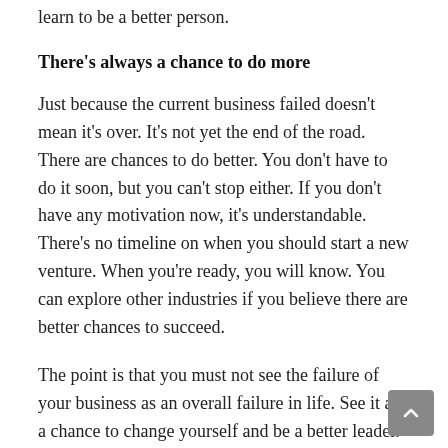learn to be a better person.
There's always a chance to do more
Just because the current business failed doesn't mean it's over. It's not yet the end of the road. There are chances to do better. You don't have to do it soon, but you can't stop either. If you don't have any motivation now, it's understandable. There's no timeline on when you should start a new venture. When you're ready, you will know. You can explore other industries if you believe there are better chances to succeed.
The point is that you must not see the failure of your business as an overall failure in life. See it as a chance to change yourself and be a better leader. You have more to prove to the business community, and you should see it as a challenge. Sure, people might laugh at you because you didn't succeed and your goals were not met. Prove to everyone that you're capable of doing more if given the chance. It's